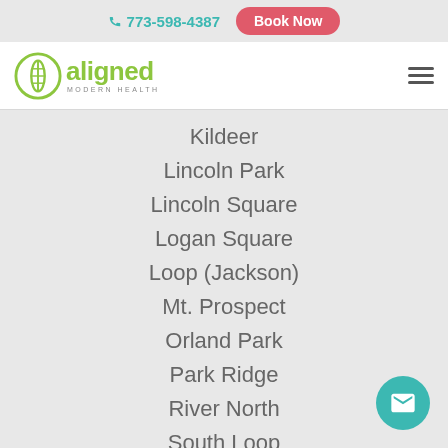📞 773-598-4387   Book Now
[Figure (logo): Aligned Modern Health logo — green spine icon with the word 'aligned' in green and 'MODERN HEALTH' in grey below]
Kildeer
Lincoln Park
Lincoln Square
Logan Square
Loop (Jackson)
Mt. Prospect
Orland Park
Park Ridge
River North
South Loop